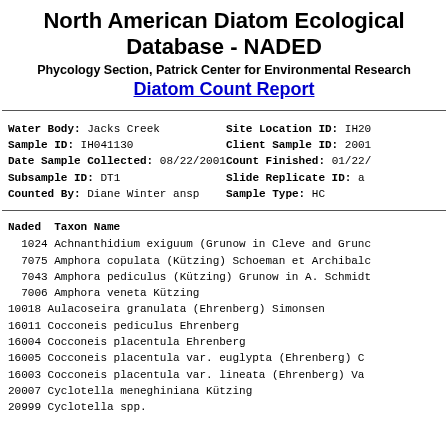North American Diatom Ecological Database - NADED
Phycology Section, Patrick Center for Environmental Research
Diatom Count Report
Water Body: Jacks Creek   Site Location ID: IH20...
Sample ID: IH041130   Client Sample ID: 2001...
Date Sample Collected: 08/22/2001   Count Finished: 01/22/...
Subsample ID: DT1   Slide Replicate ID: a
Counted By: Diane Winter ansp   Sample Type: HC
| Naded | Taxon Name |
| --- | --- |
| 1024 | Achnanthidium exiguum (Grunow in Cleve and Gruno... |
| 7075 | Amphora copulata (Kützing) Schoeman et Archibald... |
| 7043 | Amphora pediculus (Kützing) Grunow in A. Schmidt... |
| 7006 | Amphora veneta Kützing |
| 10018 | Aulacoseira granulata (Ehrenberg) Simonsen |
| 16011 | Cocconeis pediculus Ehrenberg |
| 16004 | Cocconeis placentula Ehrenberg |
| 16005 | Cocconeis placentula var. euglypta (Ehrenberg) C... |
| 16003 | Cocconeis placentula var. lineata (Ehrenberg) Va... |
| 20007 | Cyclotella meneghiniana Kützing |
| 20999 | Cyclotella spp. |